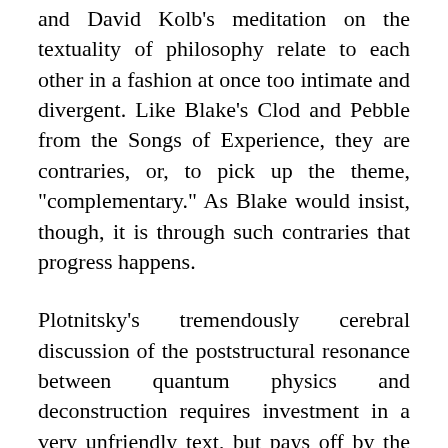and David Kolb's meditation on the textuality of philosophy relate to each other in a fashion at once too intimate and divergent. Like Blake's Clod and Pebble from the Songs of Experience, they are contraries, or, to pick up the theme, "complementary." As Blake would insist, though, it is through such contraries that progress happens.
Plotnitsky's tremendously cerebral discussion of the poststructural resonance between quantum physics and deconstruction requires investment in a very unfriendly text, but pays off by the depth of its engagement. No mere review of paradoxical leitmotifs, Complementarity succeeds, although less directly than one might